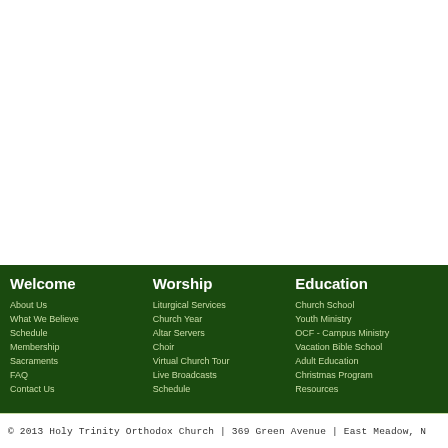Welcome
About Us
What We Believe
Schedule
Membership
Sacraments
FAQ
Contact Us
Worship
Liturgical Services
Church Year
Altar Servers
Choir
Virtual Church Tour
Live Broadcasts
Schedule
Education
Church School
Youth Ministry
OCF - Campus Ministry
Vacation Bible School
Adult Education
Christmas Program
Resources
© 2013 Holy Trinity Orthodox Church | 369 Green Avenue | East Meadow, N